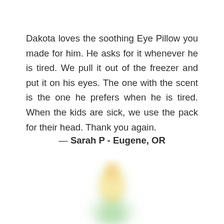Dakota loves the soothing Eye Pillow you made for him. He asks for it whenever he is tired. We pull it out of the freezer and put it on his eyes. The one with the scent is the one he prefers when he is tired. When the kids are sick, we use the pack for their head. Thank you again.
— Sarah P - Eugene, OR
[Figure (illustration): Soft blurred candle flame illustration with pastel yellow, green, and orange colors at the bottom of the page]